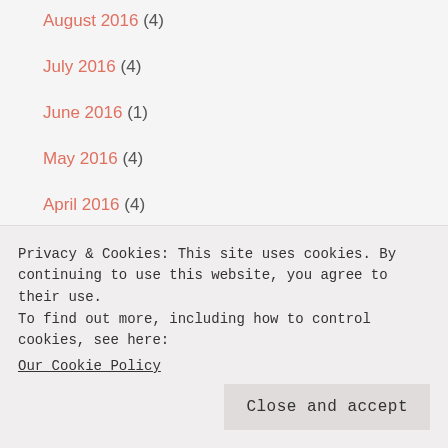August 2016 (4)
July 2016 (4)
June 2016 (1)
May 2016 (4)
April 2016 (4)
March 2016 (7)
February 2016 (6)
January 2016 (8)
September 2015 (2)
Privacy & Cookies: This site uses cookies. By continuing to use this website, you agree to their use.
To find out more, including how to control cookies, see here: Our Cookie Policy